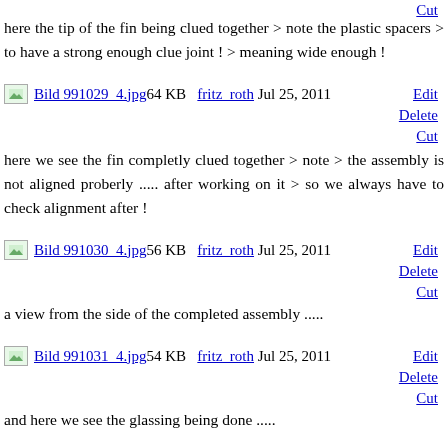Cut
here the tip of the fin being clued together > note the plastic spacers > to have a strong enough clue joint ! > meaning wide enough !
Edit
Delete
Cut
[Figure (photo): Thumbnail image: Bild 991029_4.jpg, 64 KB, fritz_roth, Jul 25, 2011]
here we see the fin completly clued together > note > the assembly is not aligned proberly ..... after working on it > so we always have to check alignment after !
Edit
Delete
Cut
[Figure (photo): Thumbnail image: Bild 991030_4.jpg, 56 KB, fritz_roth, Jul 25, 2011]
a view from the side of the completed assembly .....
Edit
Delete
Cut
[Figure (photo): Thumbnail image: Bild 991031_4.jpg, 54 KB, fritz_roth, Jul 25, 2011]
and here we see the glassing being done .....
Edit
Delete
Cut
[Figure (photo): Thumbnail image: Bild 991032_4.jpg, 60 KB, fritz_roth, Jul 27, 2011]
here we have the fin with the vertical part on the floor > to confirm all the parameters > and complete filling in the joints ....
Edit